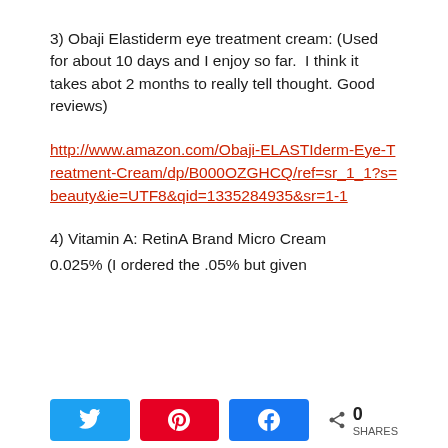3) Obaji Elastiderm eye treatment cream: (Used for about 10 days and I enjoy so far.  I think it takes abot 2 months to really tell thought. Good reviews)
http://www.amazon.com/Obaji-ELASTIderm-Eye-Treatment-Cream/dp/B000OZGHCQ/ref=sr_1_1?s=beauty&ie=UTF8&qid=1335284935&sr=1-1
4) Vitamin A: RetinA Brand Micro Cream 0.025% (I ordered the .05% but given
N Share   A Pin   k Share   < 0 SHARES